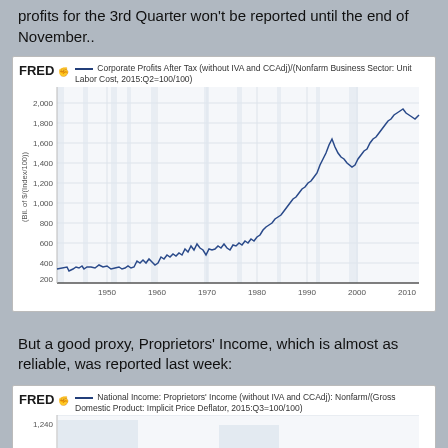profits for the 3rd Quarter won't be reported until the end of November..
[Figure (continuous-plot): FRED line chart showing Corporate Profits After Tax divided by Unit Labor Cost from ~1947 to 2015, showing values starting around 150, relatively flat through the 1970s, rising through the 1980s-1990s to ~700, then surging to ~1600 in 2006, dropping to ~700 in 2009, then rising sharply to ~1900 by 2015.]
But a good proxy, Proprietors' Income, which is almost as reliable, was reported last week:
[Figure (continuous-plot): FRED line chart showing National Income Proprietors' Income (without IVA and CCAdj) Nonfarm divided by GDP Deflator, partially visible at bottom of page, y-axis shows 1,240.]